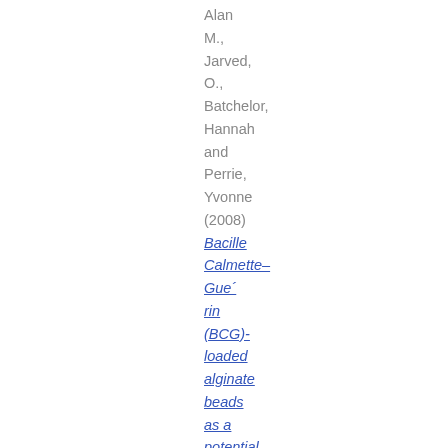Alan M., Jarved, O., Batchelor, Hannah and Perrie, Yvonne (2008) Bacille Calmette–Gue´rin (BCG)-loaded alginate beads as a potential oral